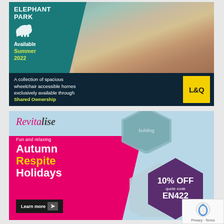[Figure (illustration): Elephant Park advertisement banner showing a modern living room with sofa and dining chairs, teal overlay with brand name, 'Available Summer 2022', and L&Q logo. Text: 'A collection of spacious wheelchair accessible homes exclusively available through Shared Ownership']
[Figure (illustration): Revitalise advertisement showing 'Fun and relaxing Autumn Respite Holidays' with '10% OFF quote code EN422', hexagonal photo collages of a building exterior and person in wheelchair, and a 'Learn more' button.]